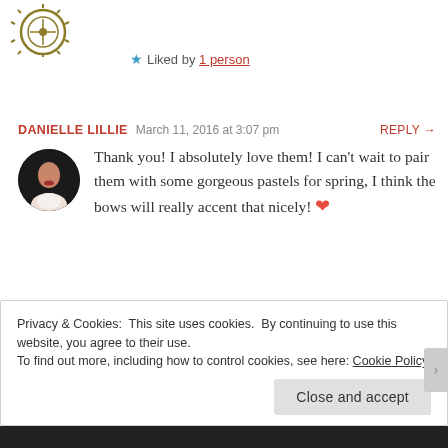[Figure (illustration): Decorative logo/icon with circular gear-like pattern in gold/dark tones, partially cropped at top-left]
★ Liked by 1 person
DANIELLE LILLIE   March 11, 2016 at 3:07 pm   REPLY →
Thank you! I absolutely love them! I can't wait to pair them with some gorgeous pastels for spring, I think the bows will really accent that nicely! ❤
★ Liked by 1 person
Privacy & Cookies: This site uses cookies. By continuing to use this website, you agree to their use.
To find out more, including how to control cookies, see here: Cookie Policy
Close and accept